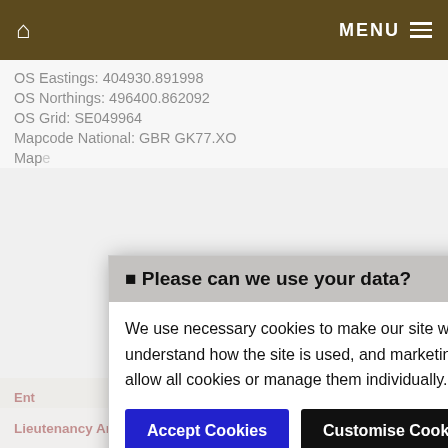MENU
OS Eastings: 404930.891998
OS Northings: 496400.862092
OS Grid: SE049964
Mapcode National: GBR GK77.XO
Mapc...
Ent...
sto...
Sch...
Las...
Sou...
Sou...
Eng...
Cou...
Civi...
Tra...
Lieutenancy Area (Ceremonial County): North Yorkshire
[Figure (screenshot): Cookie consent modal dialog overlay. Header: 'Please can we use your data?' Body text: 'We use necessary cookies to make our site work. We'd also like to set optional analytics cookies to help us understand how the site is used, and marketing cookies to help ensure that you see relevant advertising. You can allow all cookies or manage them individually. More information'. Two buttons: 'Accept Cookies' (blue) and 'Customise Cookies' (black).]